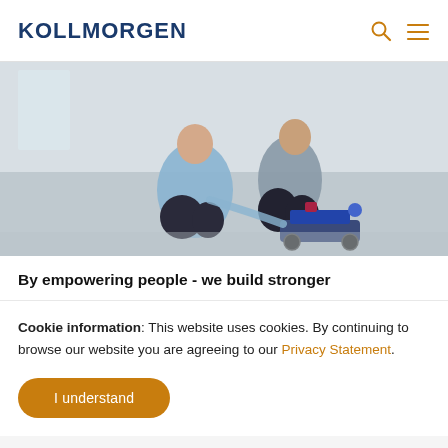KOLLMORGEN
[Figure (photo): Two people crouching on a light gray floor, working on a small wheeled robot. One person in a light blue top and dark pants is reaching toward the robot, the other person in a gray top is watching. The robot is a small platform with wheels, electronics, and components on it.]
By empowering people - we build stronger
Cookie information: This website uses cookies. By continuing to browse our website you are agreeing to our Privacy Statement.
I understand